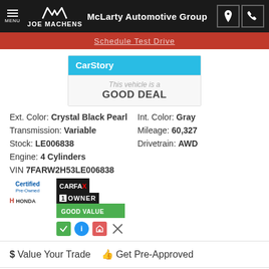MENU JOE MACHENS McLarty Automotive Group
Schedule Test Drive
[Figure (logo): CarStory badge showing 'This vehicle is a GOOD DEAL']
Ext. Color: Crystal Black Pearl
Int. Color: Gray
Transmission: Variable
Mileage: 60,327
Stock: LE006838
Drivetrain: AWD
Engine: 4 Cylinders
VIN 7FARW2H53LE006838
[Figure (logo): Honda Certified Pre-Owned logo and CARFAX 1 Owner Good Value badge with icons]
$ Value Your Trade   👍 Get Pre-Approved
Located At: Columbia Honda - Call: 573-866-6232